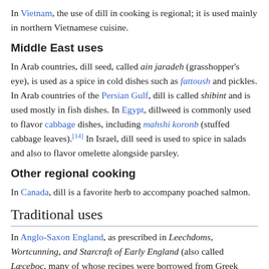In Vietnam, the use of dill in cooking is regional; it is used mainly in northern Vietnamese cuisine.
Middle East uses
In Arab countries, dill seed, called ain jaradeh (grasshopper's eye), is used as a spice in cold dishes such as fattoush and pickles. In Arab countries of the Persian Gulf, dill is called shibint and is used mostly in fish dishes. In Egypt, dillweed is commonly used to flavor cabbage dishes, including mahshi koronb (stuffed cabbage leaves).[14] In Israel, dill seed is used to spice in salads and also to flavor omelette alongside parsley.
Other regional cooking
In Canada, dill is a favorite herb to accompany poached salmon.
Traditional uses
In Anglo-Saxon England, as prescribed in Leechdoms, Wortcunning, and Starcraft of Early England (also called Læceboc, many of whose recipes were borrowed from Greek medicinal texts),